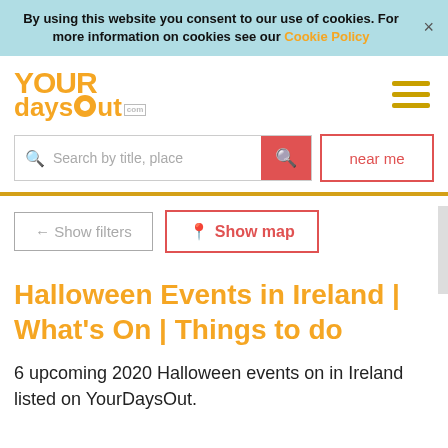By using this website you consent to our use of cookies. For more information on cookies see our Cookie Policy ×
[Figure (logo): YourDaysOut.com logo in yellow/orange with hamburger menu icon]
Search by title, place | near me
← Show filters | 📍 Show map
Halloween Events in Ireland | What's On | Things to do
6 upcoming 2020 Halloween events on in Ireland listed on YourDaysOut.